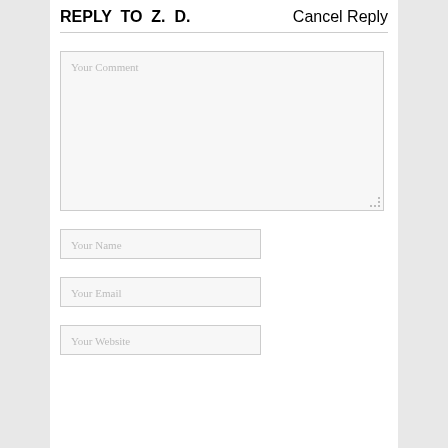REPLY TO Z. D.
Cancel Reply
Your Comment
Your Name
Your Email
Your Website